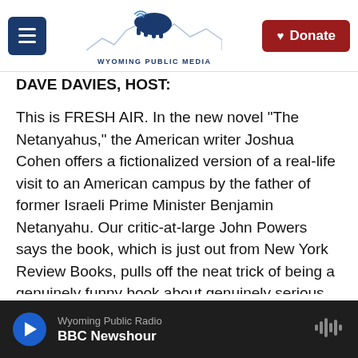Wyoming Public Media — Donate
DAVE DAVIES, HOST:
This is FRESH AIR. In the new novel "The Netanyahus," the American writer Joshua Cohen offers a fictionalized version of a real-life visit to an American campus by the father of former Israeli Prime Minister Benjamin Netanyahu. Our critic-at-large John Powers says the book, which is just out from New York Review Books, pulls off the neat trick of being a genuinely funny book about genuinely serious things.
Wyoming Public Radio — BBC Newshour